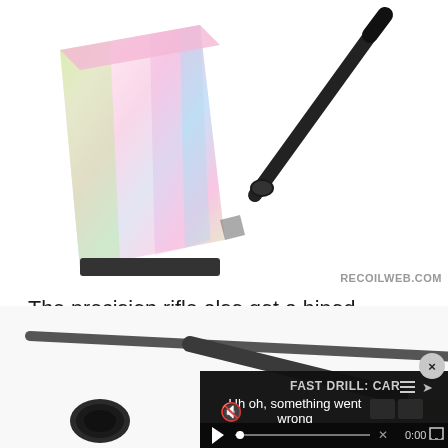[Figure (photo): Close-up photo of a rifle barrel and receiver with colorful iridescent/rainbow-tinted metal surface on the left side and a black barrel on the right side against a white background. Watermark 'RECOILWEB.COM' in bottom right.]
The precision rifle also got a bipod. While we ended up with a Harris, you can save a little money by here initially starting with something on the lower end of the price continuum.
[Figure (photo): Close-up photo of a rifle bipod leg/rod and scope against a white/light background, partially overlaid by a dark video player error overlay reading 'FAST DRILL: CAR' with 'Uh oh, something went wrong' error message, mute icon, play button, seek bar with X, 0:00 timestamp, and fullscreen icon. A close button (x) appears in top right of the overlay.]